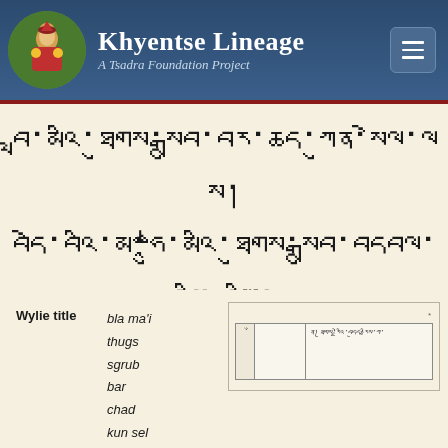Khyentse Lineage — A Tsadra Foundation Project
[Figure (other): Tibetan script text displaying the title of a text in Tibetan]
Wylie title   bla ma'i thugs sgrub bar chad kun sel las
[Figure (other): Preview thumbnail of a Tibetan manuscript page with columns and Tibetan script]